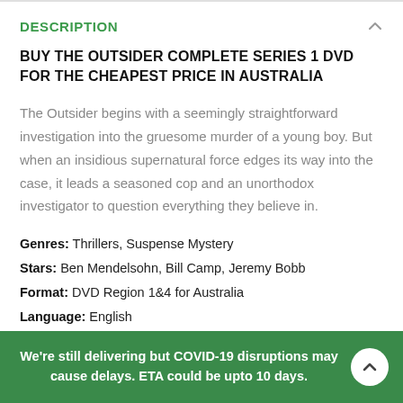DESCRIPTION
BUY THE OUTSIDER COMPLETE SERIES 1 DVD FOR THE CHEAPEST PRICE IN AUSTRALIA
The Outsider begins with a seemingly straightforward investigation into the gruesome murder of a young boy. But when an insidious supernatural force edges its way into the case, it leads a seasoned cop and an unorthodox investigator to question everything they believe in.
Genres: Thrillers, Suspense Mystery
Stars: Ben Mendelsohn, Bill Camp, Jeremy Bobb
Format: DVD Region 1&4 for Australia
Language: English
Subtitles: May not have or can't remove
We're still delivering but COVID-19 disruptions may cause delays. ETA could be upto 10 days.